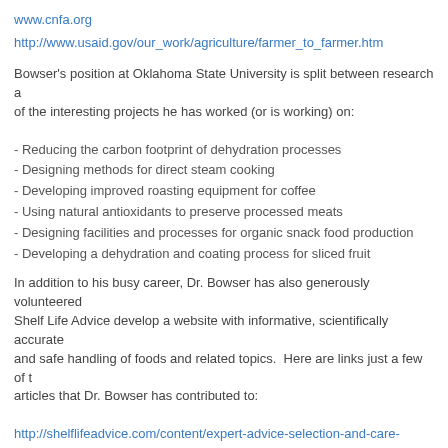www.cnfa.org
http://www.usaid.gov/our_work/agriculture/farmer_to_farmer.htm
Bowser's position at Oklahoma State University is split between research a... of the interesting projects he has worked (or is working) on:
- Reducing the carbon footprint of dehydration processes
- Designing methods for direct steam cooking
- Developing improved roasting equipment for coffee
- Using natural antioxidants to preserve processed meats
- Designing facilities and processes for organic snack food production
- Developing a dehydration and coating process for sliced fruit
In addition to his busy career, Dr. Bowser has also generously volunteered... Shelf Life Advice develop a website with informative, scientifically accurate... and safe handling of foods and related topics. Here are links just a few of t... articles that Dr. Bowser has contributed to:
http://shelflifeadvice.com/content/expert-advice-selection-and-care-cookwa
http://shelflifeadvice.com/content/foodmeat-thermometers—what-you-need
http://shelflifeadvice.com/content/fooddispose-of-it...